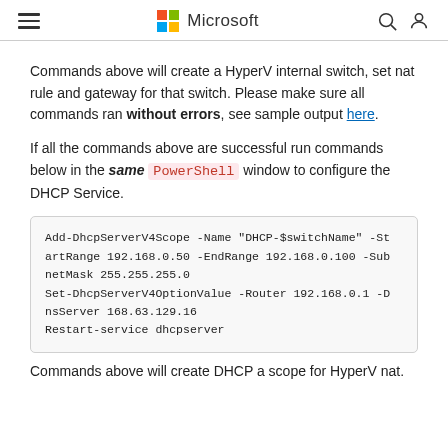Microsoft
Commands above will create a HyperV internal switch, set nat rule and gateway for that switch. Please make sure all commands ran without errors, see sample output here.
If all the commands above are successful run commands below in the same PowerShell window to configure the DHCP Service.
Add-DhcpServerV4Scope -Name "DHCP-$switchName" -StartRange 192.168.0.50 -EndRange 192.168.0.100 -SubnetMask 255.255.255.0
Set-DhcpServerV4OptionValue -Router 192.168.0.1 -DnsServer 168.63.129.16
Restart-service dhcpserver
Commands above will create DHCP a scope for HyperV nat.